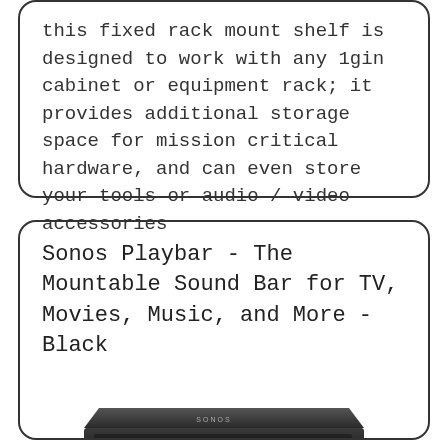this fixed rack mount shelf is designed to work with any 1gin cabinet or equipment rack; it provides additional storage space for mission critical hardware, and can even store your tools or audio / video accessories
Sonos Playbar - The Mountable Sound Bar for TV, Movies, Music, and More - Black
[Figure (photo): Photo of a Sonos Playbar soundbar in black, viewed slightly from above, showing its long flat rectangular form with a SONOS logo on top.]